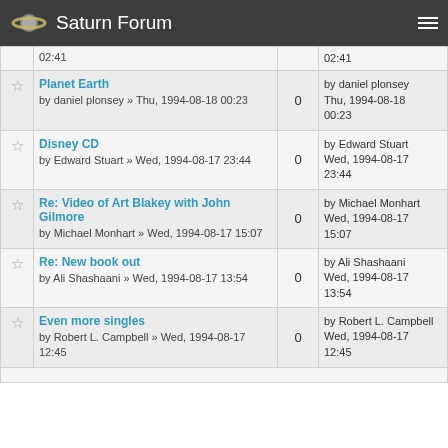Saturn Forum
|  | Topic | Replies | Last Post |
| --- | --- | --- | --- |
| ☆ | Planet Earth
by daniel plonsey » Thu, 1994-08-18 00:23 | 0 | by daniel plonsey
Thu, 1994-08-18 00:23 |
| ☆ | Disney CD
by Edward Stuart » Wed, 1994-08-17 23:44 | 0 | by Edward Stuart
Wed, 1994-08-17 23:44 |
| ☆ | Re: Video of Art Blakey with John Gilmore
by Michael Monhart » Wed, 1994-08-17 15:07 | 0 | by Michael Monhart
Wed, 1994-08-17 15:07 |
| ☆ | Re: New book out
by Ali Shashaani » Wed, 1994-08-17 13:54 | 0 | by Ali Shashaani
Wed, 1994-08-17 13:54 |
| ☆ | Even more singles
by Robert L. Campbell » Wed, 1994-08-17 12:45 | 0 | by Robert L. Campbell
Wed, 1994-08-17 12:45 |